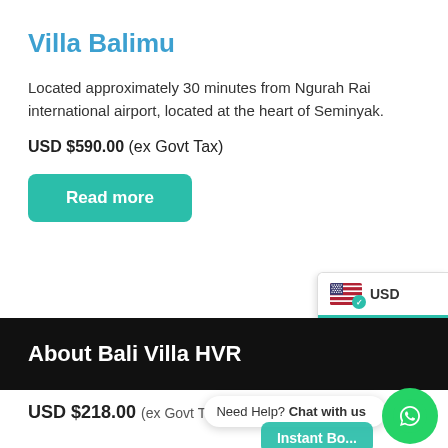Villa Balimu
Located approximately 30 minutes from Ngurah Rai international airport, located at the heart of Seminyak.
USD $590.00 (ex Govt Tax)
Read more
[Figure (screenshot): USD currency selector widget with US flag and green checkmark, plus a green back arrow button]
About Bali Villa HVR
USD $218.00 (ex Govt T...
Need Help? Chat with us
[Figure (logo): WhatsApp green circle button with phone icon]
Instant Bo...